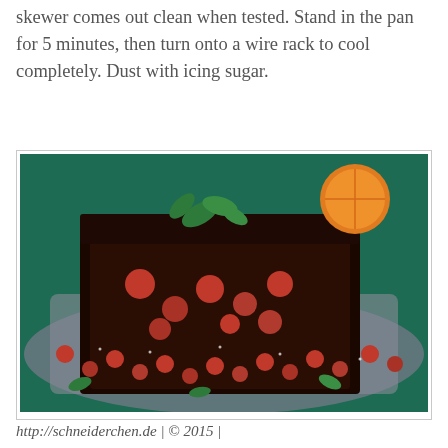skewer comes out clean when tested. Stand in the pan for 5 minutes, then turn onto a wire rack to cool completely. Dust with icing sugar.
[Figure (photo): Close-up photo of dark chocolate cranberry cake slices on a silver tray, surrounded by fresh red cranberries and green mint leaves, with an orange slice visible in the background on a teal surface.]
http://schneiderchen.de | © 2015 | http://angiesrecipes.blogspot.com
[Figure (photo): Second photo of the same chocolate cranberry loaf cake from a different angle, dusted with powdered sugar, with orange fruits and cranberries on a teal background.]